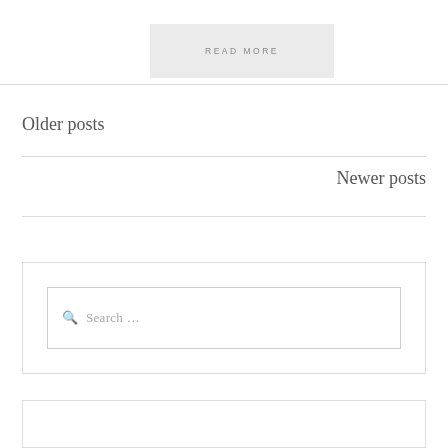READ MORE
Older posts
Newer posts
Search …